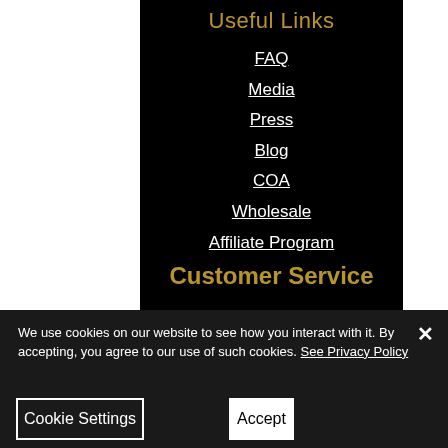Useful Links
FAQ
Media
Press
Blog
COA
Wholesale
Affiliate Program
Customer Service
We use cookies on our website to see how you interact with it. By accepting, you agree to our use of such cookies. See Privacy Policy
Cookie Settings
Accept